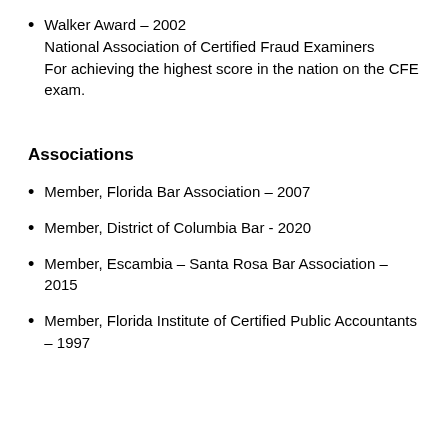Walker Award – 2002
National Association of Certified Fraud Examiners
For achieving the highest score in the nation on the CFE exam.
Associations
Member, Florida Bar Association – 2007
Member, District of Columbia Bar - 2020
Member, Escambia – Santa Rosa Bar Association – 2015
Member, Florida Institute of Certified Public Accountants – 1997